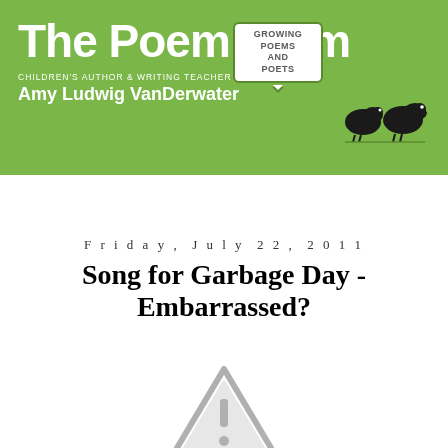The Poem Farm — Growing Poems and Poets — Children's Author & Writing Teacher — Amy Ludwig VanDerwater
HOME
Friday, July 22, 2011
Song for Garbage Day - Embarrassed?
[Figure (illustration): A gray warning/caution triangle icon with an exclamation mark inside, indicating missing or unavailable media content.]